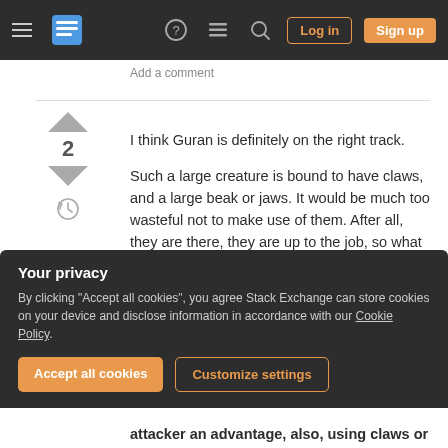Stack Exchange navigation bar with hamburger menu, logo, help, chat, search icons, Log in and Sign up buttons
Add a comment
I think Guran is definitely on the right track.

Such a large creature is bound to have claws, and a large beak or jaws. It would be much too wasteful not to make use of them. After all, they are there, they are up to the job, so what should stop you?

But just being the pilot for the beast is simply not cool enough, so our knights need a weapon. And while at best it cer...
Your privacy

By clicking "Accept all cookies", you agree Stack Exchange can store cookies on your device and disclose information in accordance with our Cookie Policy.

Accept all cookies   Customize settings
attacker an advantage, also, using claws or...